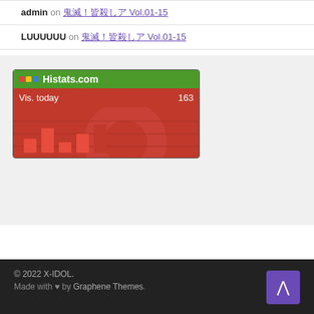admin on 鬼滅！皆殺しア Vol.01-15
LUUUUUU on 鬼滅！皆殺しア Vol.01-15
[Figure (screenshot): Histats.com widget showing Vis. today: 163, with a red background graph]
© 2022 X-IDOL. Made with ♥ by Graphene Themes.